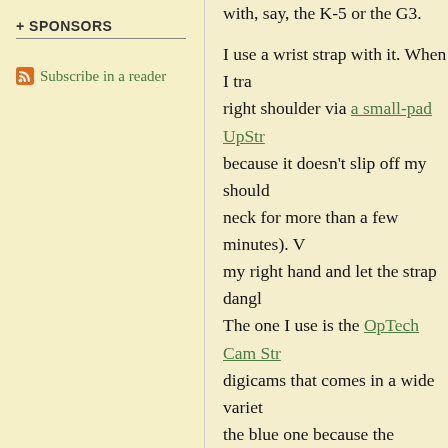+ SPONSORS
Subscribe in a reader
with, say, the K-5 or the G3.

I use a wrist strap with it. When I tra right shoulder via a small-pad UpStr because it doesn't slip off my should neck for more than a few minutes). V my right hand and let the strap dangl The one I use is the OpTech Cam Str digicams that comes in a wide variet the blue one because the picture's be DSLR like the D800 ever dangle fro it's enough to catch it if I ever lose m the cushions of the dog's bed just in comfortable to grip and hold, and I f
[Ed. Note: I removed the origin post, because I think I messed u

I can say for sure that I looked a